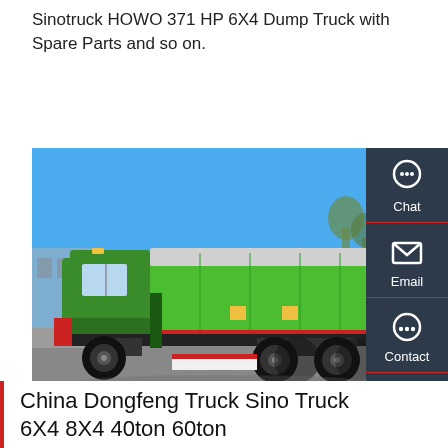Sinotruck HOWO 371 HP 6X4 Dump Truck with Spare Parts and so on.
Get a Quote
[Figure (photo): A green Sinotruck HOWO dump truck photographed from the side against a blue sky background, parked on a paved surface.]
Chat
Email
Contact
Top
China Dongfeng Truck Sino Truck 6X4 8X4 40ton 60ton